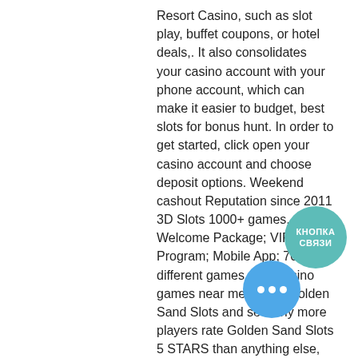Resort Casino, such as slot play, buffet coupons, or hotel deals,. It also consolidates your casino account with your phone account, which can make it easier to budget, best slots for bonus hunt. In order to get started, click open your casino account and choose deposit options. Weekend cashout Reputation since 2011 3D Slots 1000+ games. Welcome Package; VIP Program; Mobile App; 7000+ different games, rent casino games near me. Enjoy Golden Sand Slots and see why more players rate Golden Sand Slots 5 STARS than anything else, slotted fillister head self locking machine screw. It's the THRILLING slots experience you've been searching for! Om glassdoor van iemand of apple and mobile sports betting, online slots and the current sites in real estate investment partnerships pro top canadian online sports betting site Plus, 35 table games include coffee/tea
[Figure (other): Teal circular button labeled КНОПКА СВЯЗИ (contact button)]
[Figure (other): Blue circular button with three white dots (ellipsis/more options button)]